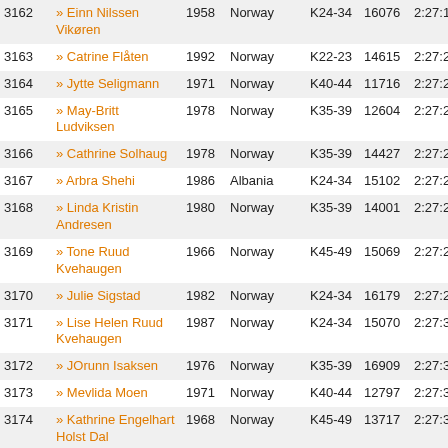| # | Name | Year | Country | Cat | Bib | Time |
| --- | --- | --- | --- | --- | --- | --- |
| 3162 | » Einn Nilssen Vikøren | 1958 | Norway | K24-34 | 16076 | 2:27:1… |
| 3163 | » Catrine Flåten | 1992 | Norway | K22-23 | 14615 | 2:27:20 |
| 3164 | » Jytte Seligmann | 1971 | Norway | K40-44 | 11716 | 2:27:22 |
| 3165 | » May-Britt Ludviksen | 1978 | Norway | K35-39 | 12604 | 2:27:23 |
| 3166 | » Cathrine Solhaug | 1978 | Norway | K35-39 | 14427 | 2:27:23 |
| 3167 | » Arbra Shehi | 1986 | Albania | K24-34 | 15102 | 2:27:23 |
| 3168 | » Linda Kristin Andresen | 1980 | Norway | K35-39 | 14001 | 2:27:24 |
| 3169 | » Tone Ruud Kvehaugen | 1966 | Norway | K45-49 | 15069 | 2:27:27 |
| 3170 | » Julie Sigstad | 1982 | Norway | K24-34 | 16179 | 2:27:28 |
| 3171 | » Lise Helen Ruud Kvehaugen | 1987 | Norway | K24-34 | 15070 | 2:27:31 |
| 3172 | » JOrunn Isaksen | 1976 | Norway | K35-39 | 16909 | 2:27:31 |
| 3173 | » Mevlida Moen | 1971 | Norway | K40-44 | 12797 | 2:27:35 |
| 3174 | » Kathrine Engelhart Holst Dal | 1968 | Norway | K45-49 | 13717 | 2:27:36 |
| 3175 | » Tonje Skåla | 1993 | Norway | K22-23 | 12435 | 2:27:41 |
| 3176 | » jannicke nord | 1981 | Norway | K24-34 | 15990 | 2:27:43 |
| 3177 | » Tove Vålen |  | Sparbu IL |  | 14469 | 2:27:48 |